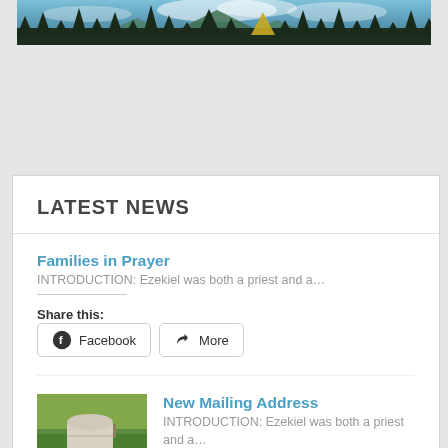[Figure (photo): Top banner photo showing mountain forest scene with pine trees, blue sky, and clouds]
LATEST NEWS
Families in Prayer
INTRODUCTION: Ezekiel was both a priest and a…
Share this:
Facebook  More
[Figure (photo): Thumbnail photo of a white mailbox on a post in a green field]
New Mailing Address
INTRODUCTION: Ezekiel was both a priest and a…
Share this:
Facebook  More